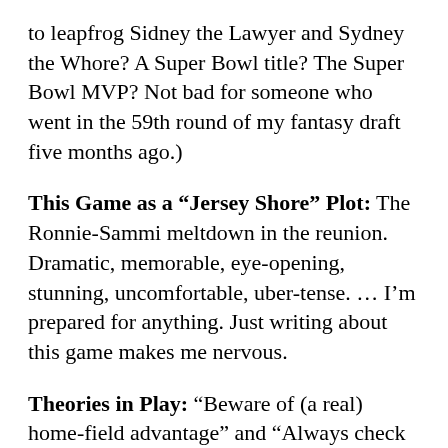to leapfrog Sidney the Lawyer and Sydney the Whore? A Super Bowl title? The Super Bowl MVP? Not bad for someone who went in the 59th round of my fantasy draft five months ago.)
This Game as a “Jersey Shore” Plot: The Ronnie-Sammi meltdown in the reunion. Dramatic, memorable, eye-opening, stunning, uncomfortable, uber-tense. … I’m prepared for anything. Just writing about this game makes me nervous.
Theories in Play: “Beware of (a real) home-field advantage” and “Always check the coaching matchups” for the Saints. For the Vikings? They almost qualified for a new one, which I had tentatively called the “This Is Bigger Than All of Us” Corollary. And then the rug got pulled out from under them.
I will explain.